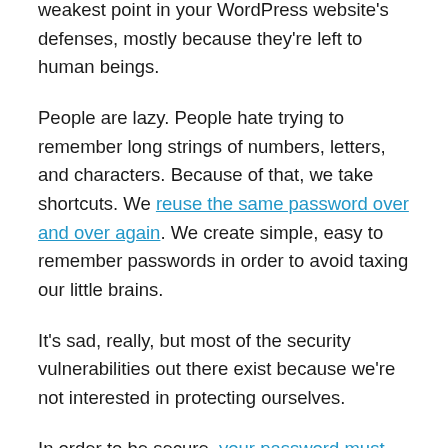weakest point in your WordPress website’s defenses, mostly because they’re left to human beings.
People are lazy. People hate trying to remember long strings of numbers, letters, and characters. Because of that, we take shortcuts. We reuse the same password over and over again. We create simple, easy to remember passwords in order to avoid taxing our little brains.
It’s sad, really, but most of the security vulnerabilities out there exist because we’re not interested in protecting ourselves.
In order to be secure, your password must be at least eight characters long and needs to include a mixture of upper and lowercase letters, numbers, and special characters.